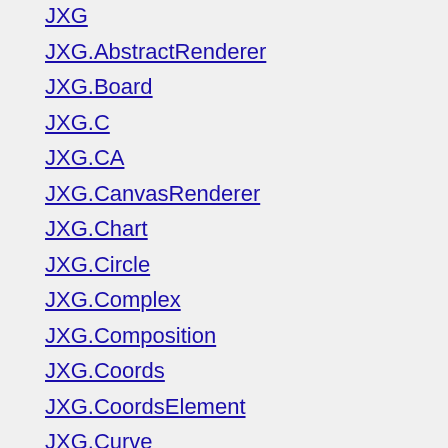JXG
JXG.AbstractRenderer
JXG.Board
JXG.C
JXG.CA
JXG.CanvasRenderer
JXG.Chart
JXG.Circle
JXG.Complex
JXG.Composition
JXG.Coords
JXG.CoordsElement
JXG.Curve
JXG.Dump
JXG.EventEmitter
JXG.ForeignObject
JXG.GeometryElement
JXG.GeonextParser
Events borrowed from attribute, attribute, mouseup, move, o…
entation generated by JsDoc Toolkit 2.4.0